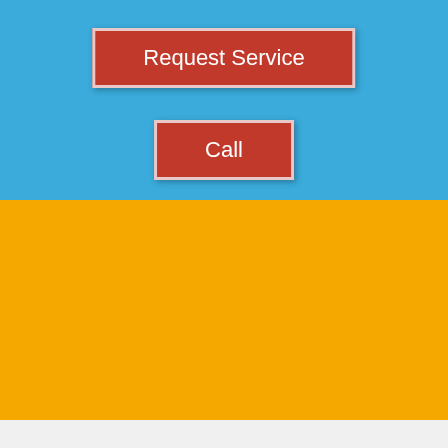[Figure (infographic): Blue background section with two red buttons labeled Request Service and Call]
[Figure (infographic): Yellow background section with Facebook, Twitter, and Google+ social media icons and a horizontal divider line]